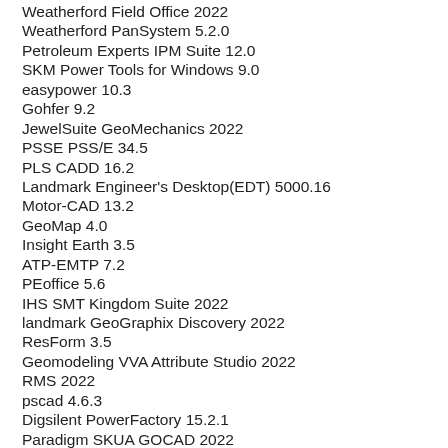Weatherford Field Office 2022
Weatherford PanSystem 5.2.0
Petroleum Experts IPM Suite 12.0
SKM Power Tools for Windows 9.0
easypower 10.3
Gohfer 9.2
JewelSuite GeoMechanics 2022
PSSE PSS/E 34.5
PLS CADD 16.2
Landmark Engineer's Desktop(EDT) 5000.16
Motor-CAD 13.2
GeoMap 4.0
Insight Earth 3.5
ATP-EMTP 7.2
PEoffice 5.6
IHS SMT Kingdom Suite 2022
landmark GeoGraphix Discovery 2022
ResForm 3.5
Geomodeling VVA Attribute Studio 2022
RMS 2022
pscad 4.6.3
Digsilent PowerFactory 15.2.1
Paradigm SKUA GOCAD 2022
Paradigm Geodepth 2022